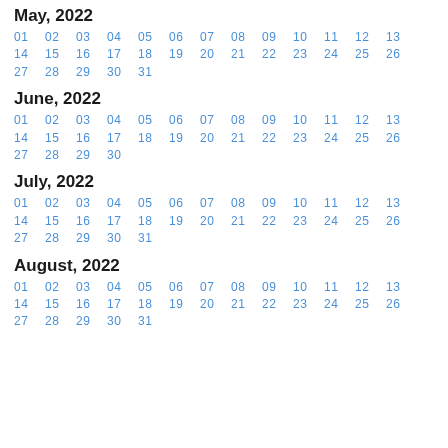May, 2022
01 02 03 04 05 06 07 08 09 10 11 12 13
14 15 16 17 18 19 20 21 22 23 24 25 26
27 28 29 30 31
June, 2022
01 02 03 04 05 06 07 08 09 10 11 12 13
14 15 16 17 18 19 20 21 22 23 24 25 26
27 28 29 30
July, 2022
01 02 03 04 05 06 07 08 09 10 11 12 13
14 15 16 17 18 19 20 21 22 23 24 25 26
27 28 29 30 31
August, 2022
01 02 03 04 05 06 07 08 09 10 11 12 13
14 15 16 17 18 19 20 21 22 23 24 25 26
27 28 29 30 31